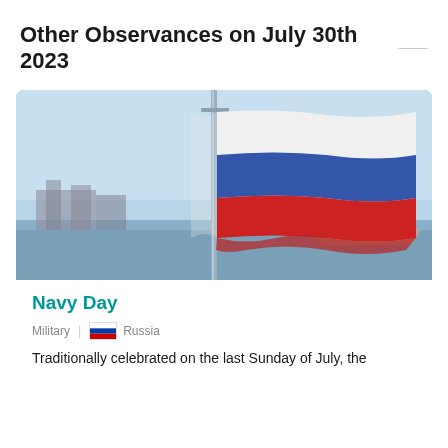Other Observances on July 30th 2023
[Figure (photo): Russian tricolor flag waving on a flagpole with ships and water in the background, blue sky]
Navy Day
Military | Russia
Traditionally celebrated on the last Sunday of July, the